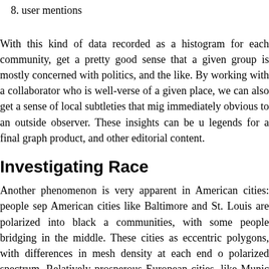8. user mentions
With this kind of data recorded as a histogram for each community, get a pretty good sense that a given group is mostly concerned with politics, and the like. By working with a collaborator who is well-versed of a given place, we can also get a sense of local subtleties that might immediately obvious to an outside observer. These insights can be u legends for a final graph product, and other editorial content.
Investigating Race
Another phenomenon is very apparent in American cities: people sep American cities like Baltimore and St. Louis are polarized into black a communities, with some people bridging in the middle. These cities as eccentric polygons, with differences in mesh density at each end o polarized spectrum. Relatively prosperous European cities, like Munic present more like “balls,” with no clear majority/minority tension disp by contrast, shows a strong divide between the rich, establishment a emergent cohort of frustrated young men.